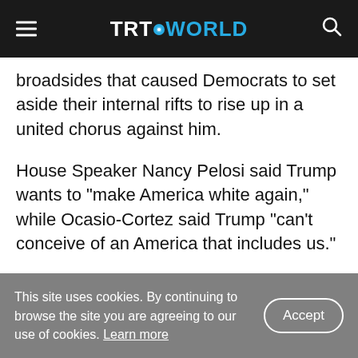TRT WORLD
broadsides that caused Democrats to set aside their internal rifts to rise up in a united chorus against him.
House Speaker Nancy Pelosi said Trump wants to "make America white again," while Ocasio-Cortez said Trump "can't conceive of an America that includes us."
"Mr. President, the country I 'come from,' & the country we all swear to, is the United States," she
This site uses cookies. By continuing to browse the site you are agreeing to our use of cookies. Learn more